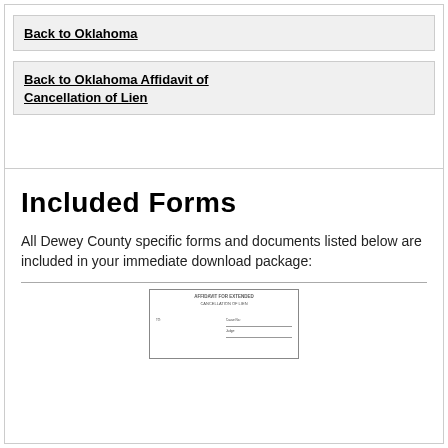Back to Oklahoma
Back to Oklahoma Affidavit of Cancellation of Lien
Included Forms
All Dewey County specific forms and documents listed below are included in your immediate download package:
[Figure (other): Preview thumbnail of a legal form document]